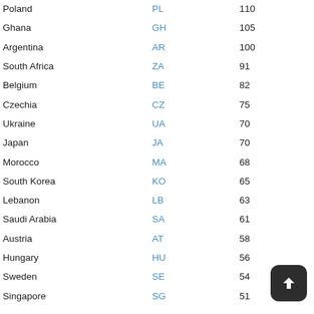| Country | Code | Value |
| --- | --- | --- |
| Poland | PL | 110 |
| Ghana | GH | 105 |
| Argentina | AR | 100 |
| South Africa | ZA | 91 |
| Belgium | BE | 82 |
| Czechia | CZ | 75 |
| Ukraine | UA | 70 |
| Japan | JA | 70 |
| Morocco | MA | 68 |
| South Korea | KO | 65 |
| Lebanon | LB | 63 |
| Saudi Arabia | SA | 61 |
| Austria | AT | 58 |
| Hungary | HU | 56 |
| Sweden | SE | 54 |
| Singapore | SG | 51 |